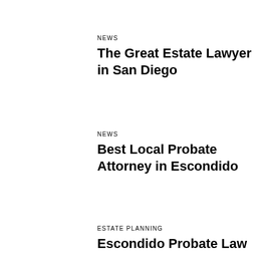NEWS
The Great Estate Lawyer in San Diego
NEWS
Best Local Probate Attorney in Escondido
ESTATE PLANNING
Escondido Probate Law